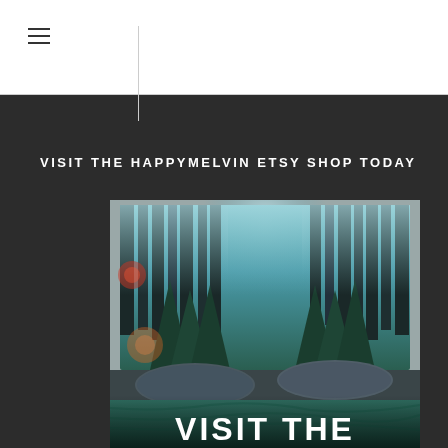≡
VISIT THE HAPPYMELVIN ETSY SHOP TODAY
[Figure (photo): A forest tapestry with tall dark pine trees and misty blue-green light, hung on a wall above a bed with dark grey pillows and green bedding. Overlaid text reads 'VISIT THE' in bold white capitals at the bottom.]